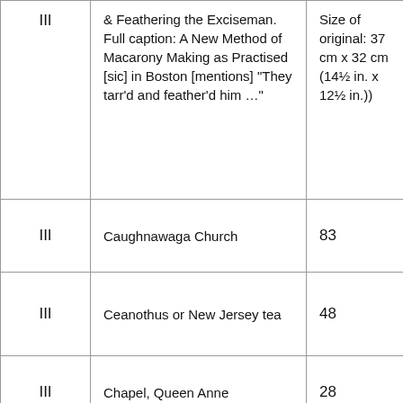| III | & Feathering the Exciseman. Full caption: A New Method of Macarony Making as Practised [sic] in Boston [mentions] "They tarr'd and feather'd him …" | Size of original: 37 cm x 32 cm (14½ in. x 12½ in.)) |
| III | Caughnawaga Church | 83 |
| III | Ceanothus or New Jersey tea | 48 |
| III | Chapel, Queen Anne | 28 |
| III | Cherry Valley Female Academy | 82 |